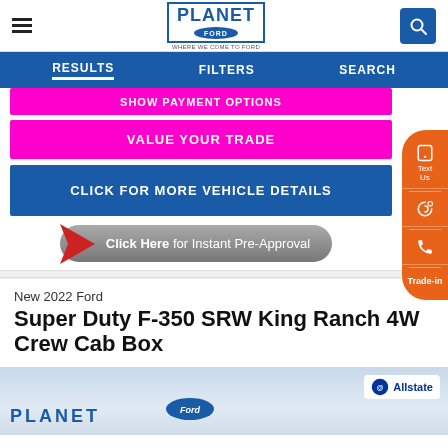Planet Ford — Navigation: RESULTS | FILTERS | SEARCH
SHOW PAYMENT OPTIONS
VALUE YOUR TRADE
CLICK FOR MORE VEHICLE DETAILS
Click Here for Instant Pre-Approval
New 2022 Ford
Super Duty F-350 SRW King Ranch 4WD Crew Cab Box
[Figure (photo): Vehicle listing page showing Planet Ford dealership exterior with Allstate logo badge, Planet Ford sign, and Ford oval logo]
[Figure (screenshot): Orange sidebar with phone, chat, and trade-in contact options]